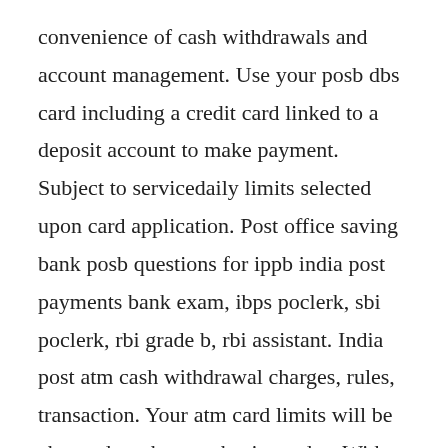convenience of cash withdrawals and account management. Use your posb dbs card including a credit card linked to a deposit account to make payment. Subject to servicedaily limits selected upon card application. Post office saving bank posb questions for ippb india post payments bank exam, ibps poclerk, sbi poclerk, rbi grade b, rbi assistant. India post atm cash withdrawal charges, rules, transaction. Your atm card limits will be changed on the next business day. With effect from 1 may 2020, we will be raising the interest rate on the­...